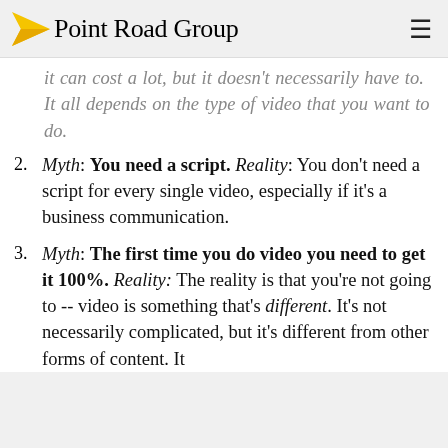Point Road Group
Myth: Video costs too much. Reality: Yes, it can cost a lot, but it doesn't necessarily have to. It all depends on the type of video that you want to do.
Myth: You need a script. Reality: You don't need a script for every single video, especially if it's a business communication.
Myth: The first time you do video you need to get it 100%. Reality: The reality is that you're not going to -- video is something that's different. It's not necessarily complicated, but it's different from other forms of content. It